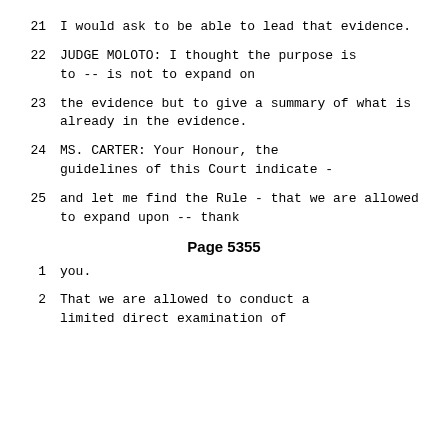21     I would ask to be able to lead that evidence.
22          JUDGE MOLOTO:  I thought the purpose is to -- is not to expand on
23     the evidence but to give a summary of what is already in the evidence.
24          MS. CARTER:  Your Honour, the guidelines of this Court indicate -
25     and let me find the Rule - that we are allowed to expand upon -- thank
Page 5355
1      you.
2           That we are allowed to conduct a limited direct examination of